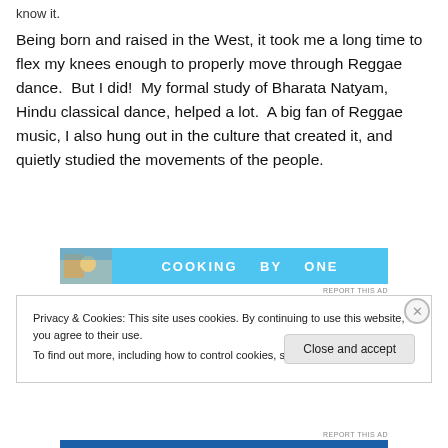Being born and raised in the West, it took me a long time to flex my knees enough to properly move through Reggae dance.  But I did!  My formal study of Bharata Natyam, Hindu classical dance, helped a lot.  A big fan of Reggae music, I also hung out in the culture that created it, and quietly studied the movements of the people.
[Figure (other): Advertisement banner with blue background and small food image on left]
REPORT THIS AD
Privacy & Cookies: This site uses cookies. By continuing to use this website, you agree to their use.
To find out more, including how to control cookies, see here: Cookie Policy
Close and accept